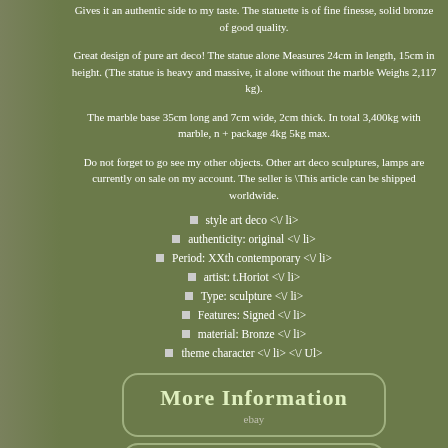Gives it an authentic side to my taste. The statuette is of fine finesse, solid bronze of good quality.
Great design of pure art deco! The statue alone Measures 24cm in length, 15cm in height. (The statue is heavy and massive, it alone without the marble Weighs 2,117 kg).
The marble base 35cm long and 7cm wide, 2cm thick. In total 3,400kg with marble, n + package 4kg 5kg max.
Do not forget to go see my other objects. Other art deco sculptures, lamps are currently on sale on my account. The seller is \This article can be shipped worldwide.
style art deco <\/ li>
authenticity: original <\/ li>
Period: XXth contemporary <\/ li>
artist: t.Horiot <\/ li>
Type: sculpture <\/ li>
Features: Signed <\/ li>
material: Bronze <\/ li>
theme character <\/ li> <\/ Ul>
[Figure (other): More Information button (eBay style rounded rectangle button with text 'More Information' and 'ebay' logo below)]
[Figure (other): View Price button (eBay style rounded rectangle button, partially visible at bottom)]